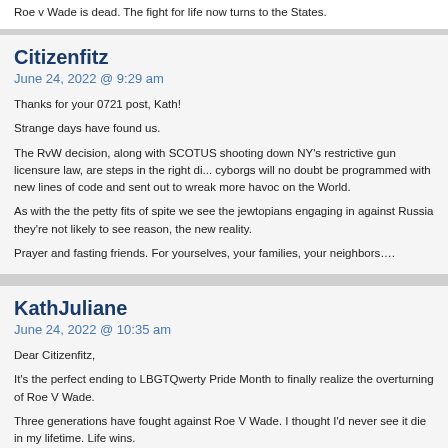Roe v Wade is dead. The fight for life now turns to the States.
Citizenfitz
June 24, 2022 @ 9:29 am
Thanks for your 0721 post, Kath!
Strange days have found us.
The RvW decision, along with SCOTUS shooting down NY's restrictive gun licensure law, are steps in the right di... cyborgs will no doubt be programmed with new lines of code and sent out to wreak more havoc on the World.
As with the the petty fits of spite we see the jewtopians engaging in against Russia they're not likely to see reason,... the new reality.
Prayer and fasting friends. For yourselves, your families, your neighbors….
KathJuliane
June 24, 2022 @ 10:35 am
Dear Citizenfitz,
It's the perfect ending to LBGTQwerty Pride Month to finally realize the overturning of Roe V Wade.
Three generations have fought against Roe V Wade. I thought I'd never see it die in my lifetime. Life wins.
And, the Lefties are squirming with their collective knickers in a bunch. As The Blaze put it:
As soon as the United States Supreme Court decision in the Dobbs case overturned Roe v. Wade on Friday, many li... began to fear that gay marriage might be next — and a concurring opinion from Justice Clarence Thomas may furth...